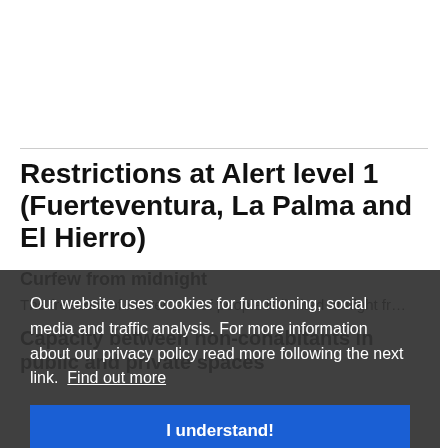Restrictions at Alert level 1 (Fuerteventura, La Palma and El Hierro)
Curfew from midnight
The freedom of movement of people is limited at night fr…
Capacity between non-cohabitants in public and private spaces
Our website uses cookies for functioning, social media and traffic analysis. For more information about our privacy policy read more following the next link.  Find out more
I understand!